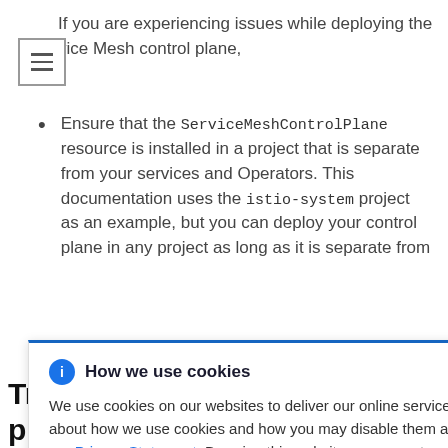If you are experiencing issues while deploying the vice Mesh control plane,
Ensure that the ServiceMeshControlPlane resource is installed in a project that is separate from your services and Operators. This documentation uses the istio-system project as an example, but you can deploy your control plane in any project as long as it is separate from [your Operat]ors and [ServiceMeshControl]Plane and [deplo]yed in the [same project as i]stio-
[Figure (infographic): Cookie consent popup with header 'How we use cookies', information icon, close button, and text about cookie usage with a Privacy Statement link]
Troubleshooting the data plane